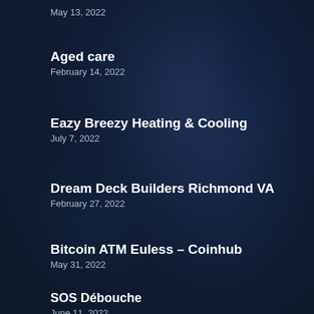May 13, 2022
Aged care
February 14, 2022
Eazy Breezy Heating & Cooling
July 7, 2022
Dream Deck Builders Richmond VA
February 27, 2022
Bitcoin ATM Euless – Coinhub
May 31, 2022
SOS Débouche
June 11, 2022